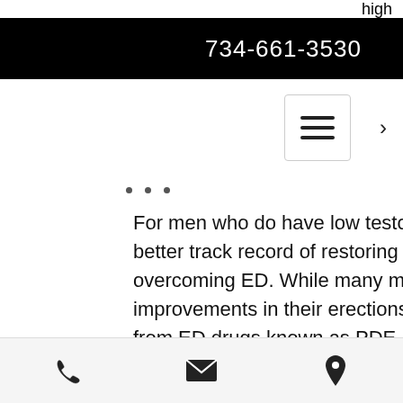high
734-661-3530
For men who do have low testosterone levels, TRT has a better track record of restoring a man's sex drive than overcoming ED. While many men on TRT do report improvements in their erections, they often need added help from ED drugs known as PDE-5 inhibitors, such as: These drugs encourage erections by increasing blood flow to the penis, testosterone supplements numan. Some men with low T, on the other hand, don't respond to these drugs without also undergoing TRT. Some research suggests that erection improvements that
phone | email | location